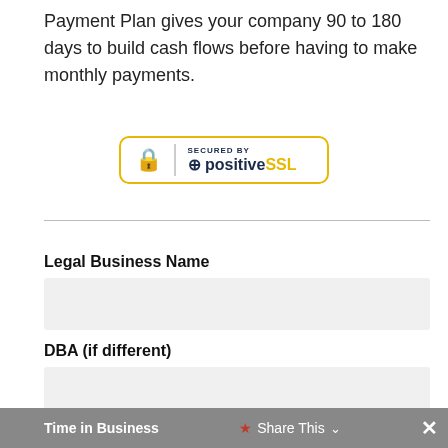Payment Plan gives your company 90 to 180 days to build cash flows before having to make monthly payments.
[Figure (logo): PositiveSSL security badge: padlock icon, vertical divider, 'SECURED BY' text above 'positive SSL' in dark blue and gold.]
Legal Business Name
DBA (if different)
Time in Business  *Share This  ×